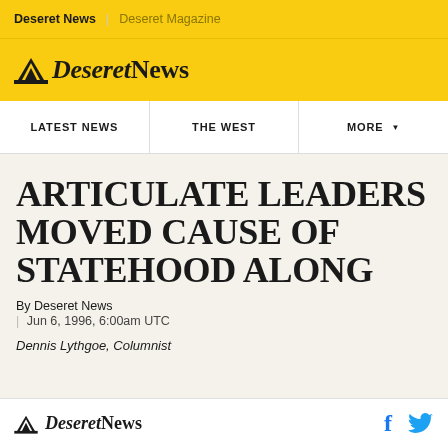Deseret News | Deseret Magazine
[Figure (logo): Deseret News logo with mountain icon on yellow background]
LATEST NEWS | THE WEST | MORE
ARTICULATE LEADERS MOVED CAUSE OF STATEHOOD ALONG
By Deseret News
| Jun 6, 1996, 6:00am UTC
Dennis Lythgoe, Columnist
[Figure (logo): Deseret News logo and social media icons (Facebook, Twitter) in bottom bar]